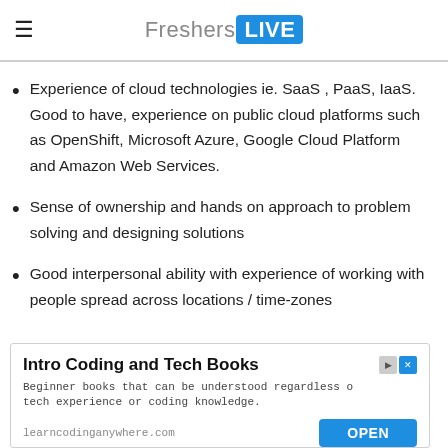FreshersLIVE
Experience of cloud technologies ie. SaaS , PaaS, IaaS. Good to have, experience on public cloud platforms such as OpenShift, Microsoft Azure, Google Cloud Platform and Amazon Web Services.
Sense of ownership and hands on approach to problem solving and designing solutions
Good interpersonal ability with experience of working with people spread across locations / time-zones
[Figure (screenshot): Advertisement for 'Intro Coding and Tech Books' from learncodinganywhere.com with an OPEN button]